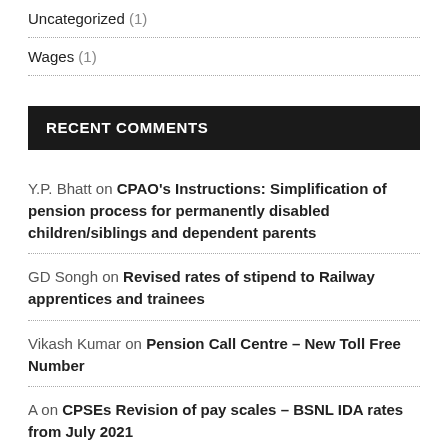Uncategorized (1)
Wages (1)
RECENT COMMENTS
Y.P. Bhatt on CPAO's Instructions: Simplification of pension process for permanently disabled children/siblings and dependent parents
GD Songh on Revised rates of stipend to Railway apprentices and trainees
Vikash Kumar on Pension Call Centre – New Toll Free Number
A on CPSEs Revision of pay scales – BSNL IDA rates from July 2021